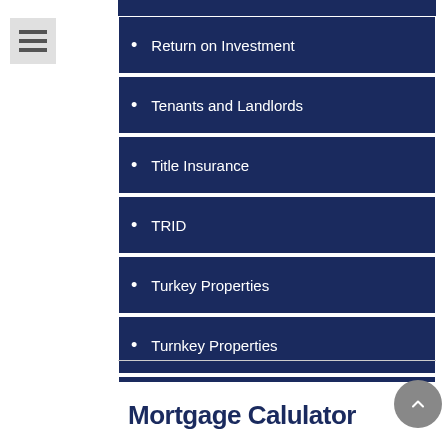[Figure (other): Menu/list icon with three horizontal bars on gray background]
Return on Investment
Tenants and Landlords
Title Insurance
TRID
Turkey Properties
Turnkey Properties
USDA
Mortgage Calulator